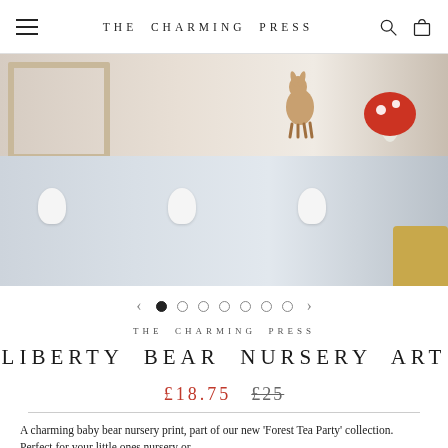THE CHARMING PRESS
[Figure (photo): Partial product photo showing a wooden picture frame and decorative figurines including a deer and red polka-dot toadstool on a light background]
[Figure (photo): Partial product gallery image showing white wall pegs/hooks on a grey-blue background with a yellow bag visible on the right]
THE CHARMING PRESS
LIBERTY BEAR NURSERY ART
£18.75   £25
A charming baby bear nursery print, part of our new 'Forest Tea Party' collection.  Perfect for your little ones nursery or